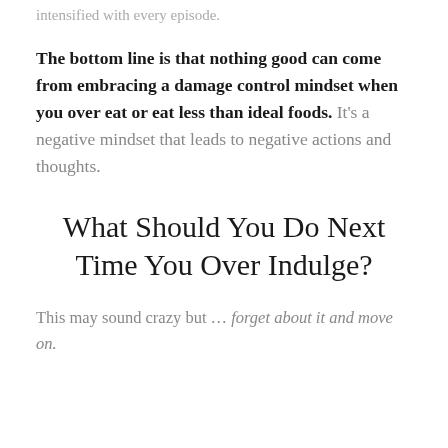intensified with every episode.
The bottom line is that nothing good can come from embracing a damage control mindset when you over eat or eat less than ideal foods. It's a negative mindset that leads to negative actions and thoughts.
What Should You Do Next Time You Over Indulge?
This may sound crazy but … forget about it and move on.